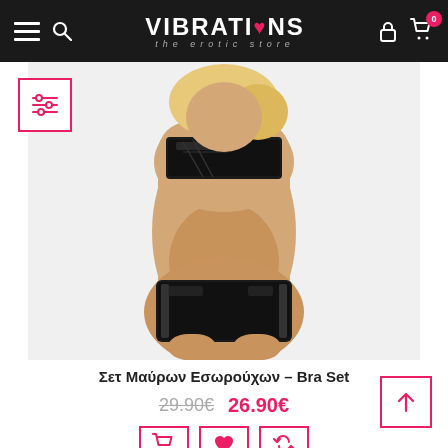VIBRATIONS the erotic store
[Figure (photo): Model wearing black shiny bandeau bra and matching low-rise shorts/hot pants against white background]
Σετ Μαύρων Εσωρούχων – Bra Set
29.90€  26.90€